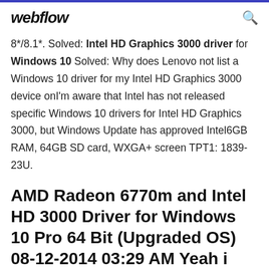webflow
8*/8.1*. Solved: Intel HD Graphics 3000 driver for Windows 10 Solved: Why does Lenovo not list a Windows 10 driver for my Intel HD Graphics 3000 device onI'm aware that Intel has not released specific Windows 10 drivers for Intel HD Graphics 3000, but Windows Update has approved Intel6GB RAM, 64GB SD card, WXGA+ screen TPT1: 1839-23U.
AMD Radeon 6770m and Intel HD 3000 Driver for Windows 10 Pro 64 Bit (Upgraded OS) 08-12-2014 03:29 AM Yeah i know, went i bought this product use